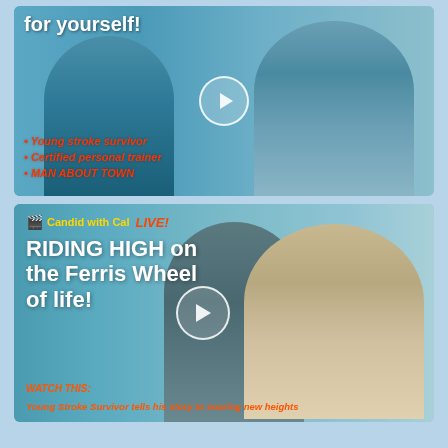[Figure (photo): Top video thumbnail showing two men laughing with a blue background. Text overlay reads 'for yourself!' at top in white bold. Bullet points in red italic: 'Young stroke survivor', 'Certified personal trainer', 'MAN ABOUT TOWN'. Play button in center.]
[Figure (photo): Bottom video thumbnail labeled 'Candid with Cal LIVE!' showing a man with glasses and beard next to an older woman with white hair, both laughing outdoors. Title text: 'RIDING HIGH on the Ferris Wheel of life!' in white bold. Bottom text in orange: 'WATCH THIS: Young Stroke Survivor tells his story to soaring new heights'. Play button in center.]